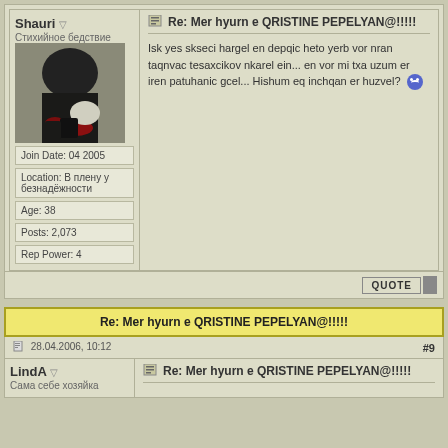Shauri ▽
Стихийное бедствие
[Figure (photo): Avatar showing dark scene with red elements on floor]
Join Date: 04 2005
Location: В плену у безнадёжности
Age: 38
Posts: 2,073
Rep Power: 4
Re: Mer hyurn e QRISTINE PEPELYAN@!!!!!
Isk yes skseci hargel en depqic heto yerb vor nran taqnvac tesaxcikov nkarel ein... en vor mi txa uzum er iren patuhanic gcel... Hishum eq inchqan er huzvel?
Re: Mer hyurn e QRISTINE PEPELYAN@!!!!!
28.04.2006, 10:12
#9
LindA ▽
Сама себе хозяйка
Re: Mer hyurn e QRISTINE PEPELYAN@!!!!!